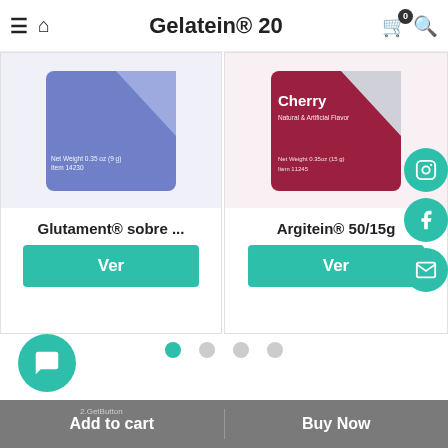Gelatein® 20
[Figure (photo): Blue product packet for Glutament® sobre]
Glutament® sobre ...
Ver
[Figure (photo): Cherry flavored product packet for Argitein® 50/15g]
Argitein® 50/15g
Ver
Add to cart
Buy Now